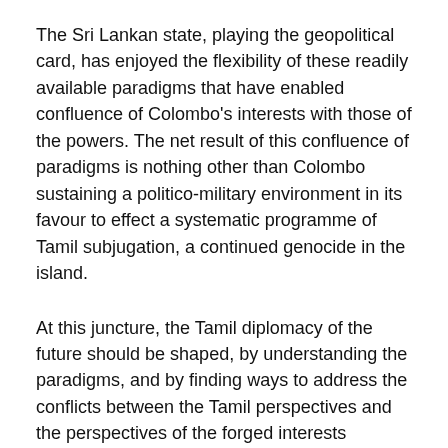The Sri Lankan state, playing the geopolitical card, has enjoyed the flexibility of these readily available paradigms that have enabled confluence of Colombo's interests with those of the powers. The net result of this confluence of paradigms is nothing other than Colombo sustaining a politico-military environment in its favour to effect a systematic programme of Tamil subjugation, a continued genocide in the island.
At this juncture, the Tamil diplomacy of the future should be shaped, by understanding the paradigms, and by finding ways to address the conflicts between the Tamil perspectives and the perspectives of the forged interests resulting from the paradigms of Colombo and the International Establishment.
Tamil polity's duty is to address the concerned global community and enlighten this community on the Tamil perspectives on reconciliation, development, peace-building and its aspired independence. An attitudinal change is urgently needed in the way